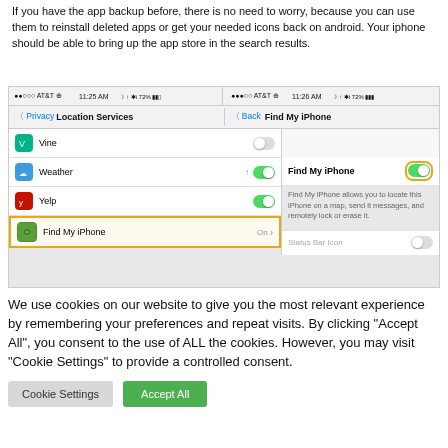If you have the app backup before, there is no need to worry, because you can use them to reinstall deleted apps or get your needed icons back on android. Your iphone should be able to bring up the app store in the search results.
[Figure (screenshot): iOS settings screenshot showing Location Services panel on left (Vine off, Weather on with location arrow, Yelp on, Find My iPhone highlighted with orange border showing On) and Find My iPhone detail panel on right with toggle highlighted in orange border, and description text.]
We use cookies on our website to give you the most relevant experience by remembering your preferences and repeat visits. By clicking "Accept All", you consent to the use of ALL the cookies. However, you may visit "Cookie Settings" to provide a controlled consent.
Cookie Settings
Accept All